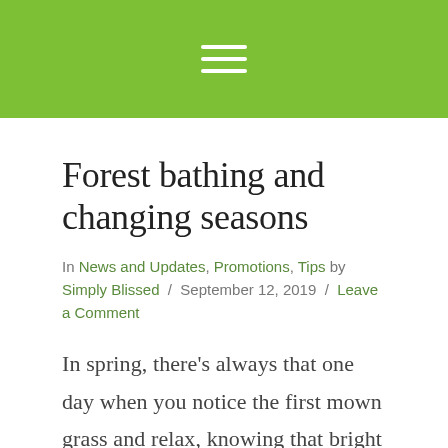≡ (hamburger menu icon)
Forest bathing and changing seasons
In News and Updates, Promotions, Tips by Simply Blissed / September 12, 2019 / Leave a Comment
In spring, there's always that one day when you notice the first mown grass and relax, knowing that bright days are ahead. But what is the smell you connect with fall in the Willamette